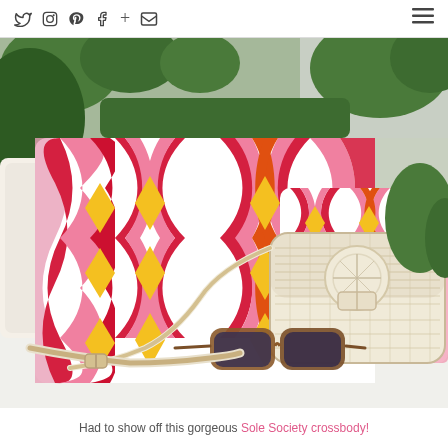Social media navigation icons and hamburger menu
[Figure (photo): Photo of two colorful geometric patterned throw pillows (pink, red, orange, yellow diamond pattern) on a white surface, accompanied by a cream woven crossbody bag, tortoiseshell sunglasses, and a cream leather bag strap, with green plants in the background.]
Had to show off this gorgeous Sole Society crossbody!